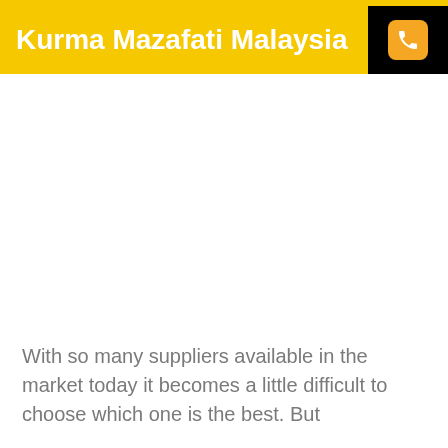Kurma Mazafati Malaysia
[Figure (other): Phone icon on black background in header]
[Figure (photo): Large white/blank image area below header]
With so many suppliers available in the market today it becomes a little difficult to choose which one is the best. But